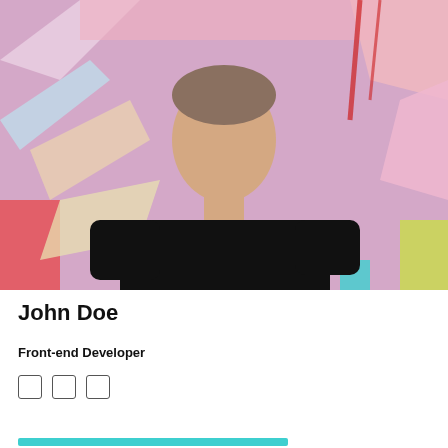[Figure (photo): Young man in a black t-shirt standing in front of a colorful graffiti wall with geometric shapes in pink, teal, red, and yellow tones.]
John Doe
Front-end Developer
□ □ □